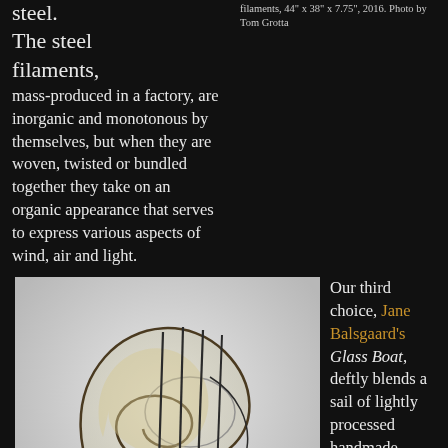steel. The steel filaments, mass-produced in a factory, are inorganic and monotonous by themselves, but when they are woven, twisted or bundled together they take on an organic appearance that serves to express various aspects of wind, air and light.
filaments, 44" x 38" x 7.75", 2016. Photo by Tom Grotta
[Figure (photo): Sculpture by Jane Balsgaard titled Glass Boat, showing a glass boat form with plant paper sail and twigs, on a light grey background. The piece features curved transparent glass shapes and vertical dark rod elements.]
32jb Glass Boat, Jane Balsgaard, plantpaper, twigs and glass, 14" x 13" x 1.5" 2015. Photo by Tom Grotta
Our third choice, Jane Balsgaard's Glass Boat, deftly blends a sail of lightly processed handmade paper and a